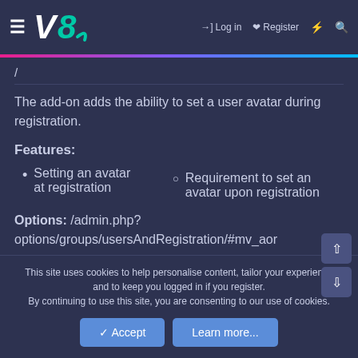≡  V8  →] Log in  ⌘ Register  ⚡  🔍
The add-on adds the ability to set a user avatar during registration.
Features:
Setting an avatar at registration
Requirement to set an avatar upon registration
Options: /admin.php?options/groups/usersAndRegistration/#mv_aor
[Figure (screenshot): Two screenshot thumbnails showing admin interface panels]
This site uses cookies to help personalise content, tailor your experience and to keep you logged in if you register. By continuing to use this site, you are consenting to our use of cookies.